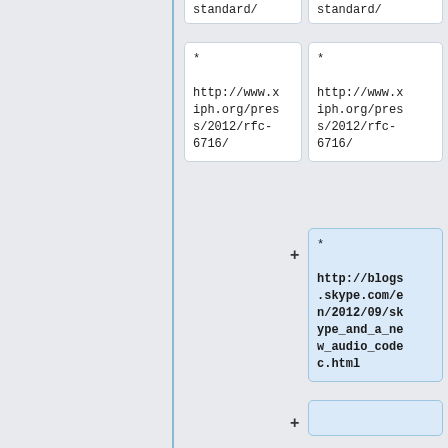standard/
standard/
* http://www.xiph.org/pres s/2012/rfc-6716/
* http://www.xiph.org/pres s/2012/rfc-6716/
* http://blogs.skype.com/en/2012/09/skype_and_a_new_audio_codec.html
== English ==
*
*